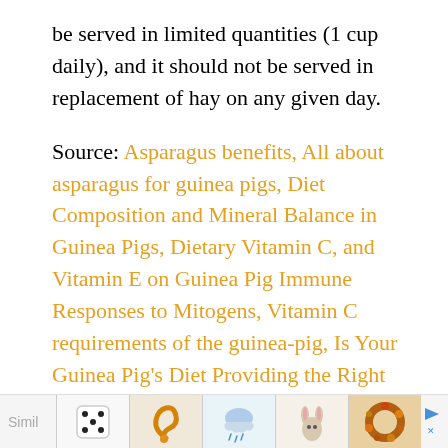be served in limited quantities (1 cup daily), and it should not be served in replacement of hay on any given day.
Source: Asparagus benefits, All about asparagus for guinea pigs, Diet Composition and Mineral Balance in Guinea Pigs, Dietary Vitamin C, and Vitamin E on Guinea Pig Immune Responses to Mitogens, Vitamin C requirements of the guinea-pig, Is Your Guinea Pig's Diet Providing the Right Nutrients? Care of Guinea Pigs.
[Figure (other): Advertisement footer bar with thumbnail images of various items (dice, snake figurine, rain cloud illustration, rabbit figurines, autumn wreath), a play button, close button, and Tiny Land logo]